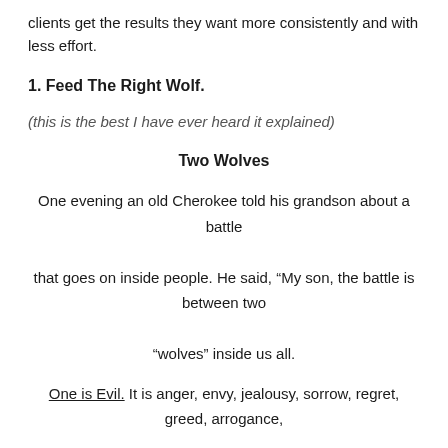clients get the results they want more consistently and with less effort.
1. Feed The Right Wolf.
(this is the best I have ever heard it explained)
Two Wolves
One evening an old Cherokee told his grandson about a battle that goes on inside people. He said, “My son, the battle is between two “wolves” inside us all.
One is Evil. It is anger, envy, jealousy, sorrow, regret, greed, arrogance,
self-pity, guilt, resentment, inferiority, lies, false pride, superiority, and ego.
The other is Good. It is joy, peace, love, hope, serenity, humility, kindness,